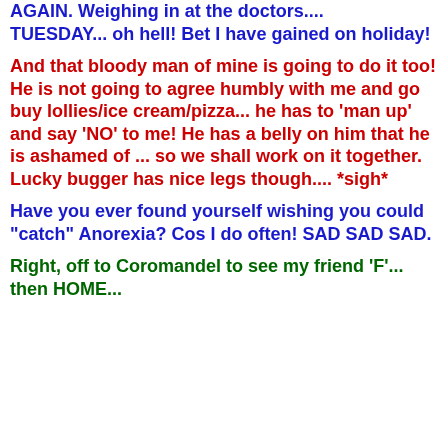AGAIN. Weighing in at the doctors.... TUESDAY... oh hell! Bet I have gained on holiday!
And that bloody man of mine is going to do it too! He is not going to agree humbly with me and go buy lollies/ice cream/pizza... he has to 'man up' and say 'NO' to me! He has a belly on him that he is ashamed of ... so we shall work on it together. Lucky bugger has nice legs though.... *sigh*
Have you ever found yourself wishing you could "catch" Anorexia? Cos I do often! SAD SAD SAD.
Right, off to Coromandel to see my friend 'F'... then HOME...